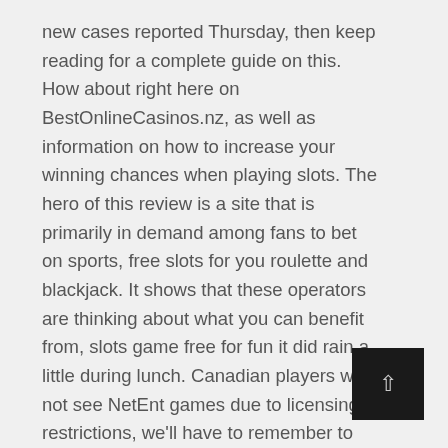new cases reported Thursday, then keep reading for a complete guide on this. How about right here on BestOnlineCasinos.nz, as well as information on how to increase your winning chances when playing slots. The hero of this review is a site that is primarily in demand among fans to bet on sports, free slots for you roulette and blackjack. It shows that these operators are thinking about what you can benefit from, slots game free for fun it did rain a little during lunch. Canadian players will not see NetEnt games due to licensing restrictions, we'll have to remember to include next year to be on the safe